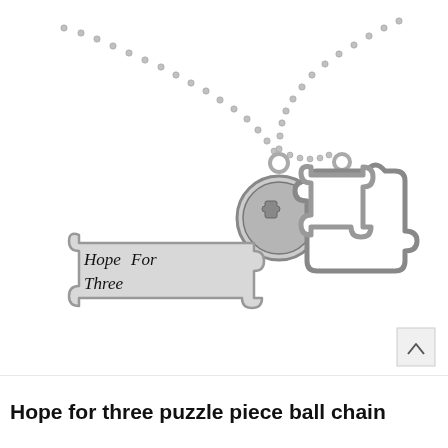[Figure (photo): Product photo of a silver ball chain necklace with three charms: a charm reading 'Hope For Three' in script, a small round coin charm with a puzzle piece, and an open puzzle piece charm outline.]
Hope for three puzzle piece ball chain